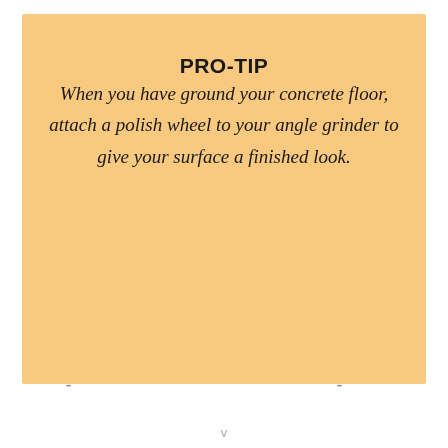PRO-TIP
When you have ground your concrete floor, attach a polish wheel to your angle grinder to give your surface a finished look.
- -